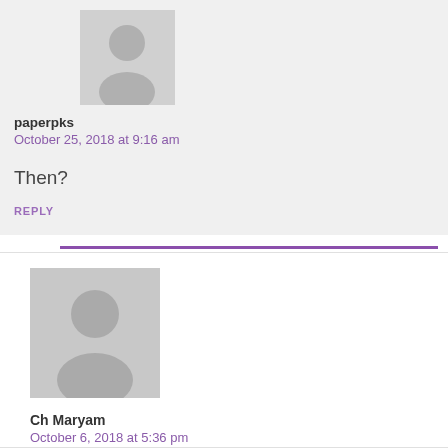[Figure (illustration): Gray placeholder avatar icon for user paperpks]
paperpks
October 25, 2018 at 9:16 am
Then?
REPLY
[Figure (illustration): Gray placeholder avatar icon for user Ch Maryam]
Ch Maryam
October 6, 2018 at 5:36 pm
How can I get apna ghr
REPLY